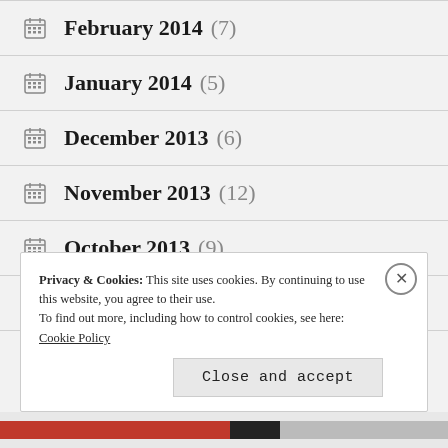February 2014 (7)
January 2014 (5)
December 2013 (6)
November 2013 (12)
October 2013 (9)
September 2013 (2)
Privacy & Cookies: This site uses cookies. By continuing to use this website, you agree to their use. To find out more, including how to control cookies, see here: Cookie Policy
Close and accept